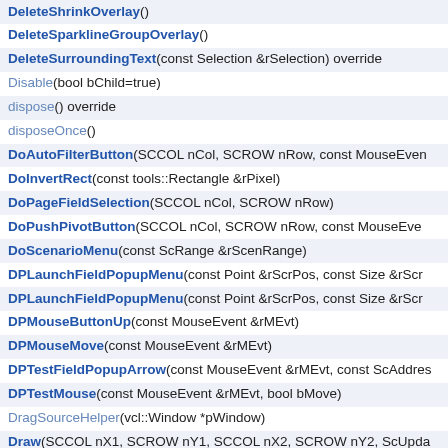DeleteShrinkOverlay()
DeleteSparklineGroupOverlay()
DeleteSurroundingText(const Selection &rSelection) override
Disable(bool bChild=true)
dispose() override
disposeOnce()
DoAutoFilterButton(SCCOL nCol, SCROW nRow, const MouseEven
DoInvertRect(const tools::Rectangle &rPixel)
DoPageFieldSelection(SCCOL nCol, SCROW nRow)
DoPushPivotButton(SCCOL nCol, SCROW nRow, const MouseEve
DoScenarioMenu(const ScRange &rScenRange)
DPLaunchFieldPopupMenu(const Point &rScrPos, const Size &rScr
DPLaunchFieldPopupMenu(const Point &rScrPos, const Size &rScr
DPMouseButtonUp(const MouseEvent &rMEvt)
DPMouseMove(const MouseEvent &rMEvt)
DPTestFieldPopupArrow(const MouseEvent &rMEvt, const ScAddres
DPTestMouse(const MouseEvent &rMEvt, bool bMove)
DragSourceHelper(vcl::Window *pWindow)
Draw(SCCOL nX1, SCROW nY1, SCCOL nX2, SCROW nY2, ScUpda
vcl::Window::Draw(::OutputDevice *pDev, const Point &rPos, SystemT
DrawAfterScroll()
DrawButtons(SCCOL nX1, SCCOL nX2, const ScTableInfo &rTabInfo